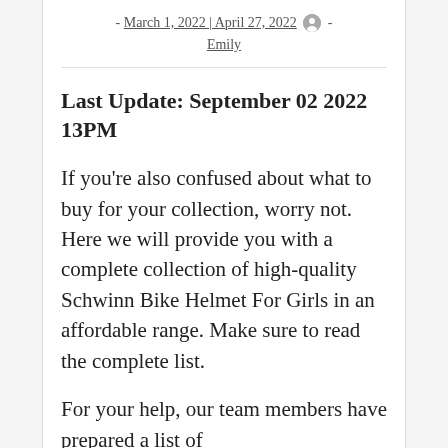- March 1, 2022 | April 27, 2022 [avatar] - Emily
Last Update: September 02 2022 13PM
If you're also confused about what to buy for your collection, worry not. Here we will provide you with a complete collection of high-quality Schwinn Bike Helmet For Girls in an affordable range. Make sure to read the complete list.
For your help, our team members have prepared a list of